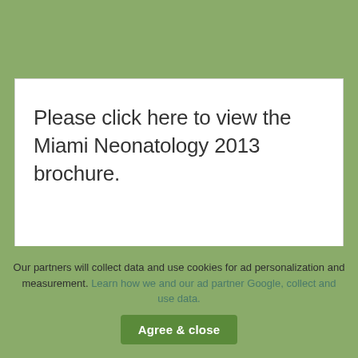Please click here to view the Miami Neonatology 2013 brochure.
Our partners will collect data and use cookies for ad personalization and measurement. Learn how we and our ad partner Google, collect and use data.